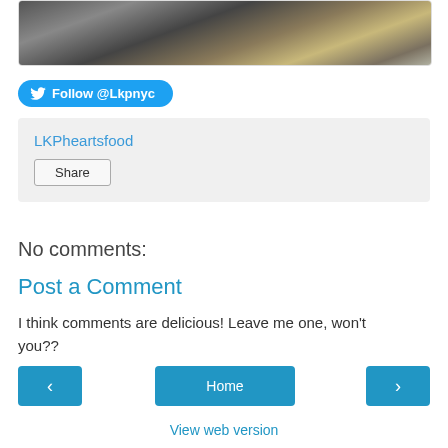[Figure (photo): Outdoor photo showing a wooden fence/dock structure with grass and rocks, clipped at top]
Follow @Lkpnyc
LKPheartsfood
Share
No comments:
Post a Comment
I think comments are delicious! Leave me one, won't you??
‹
Home
›
View web version